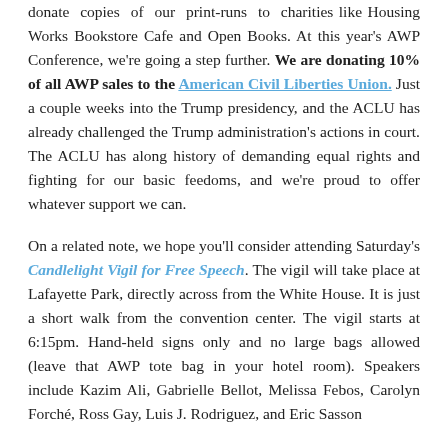donate copies of our print-runs to charities like Housing Works Bookstore Cafe and Open Books. At this year's AWP Conference, we're going a step further. We are donating 10% of all AWP sales to the American Civil Liberties Union. Just a couple weeks into the Trump presidency, and the ACLU has already challenged the Trump administration's actions in court. The ACLU has along history of demanding equal rights and fighting for our basic freedoms, and we're proud to offer whatever support we can.

On a related note, we hope you'll consider attending Saturday's Candlelight Vigil for Free Speech. The vigil will take place at Lafayette Park, directly across from the White House. It is just a short walk from the convention center. The vigil starts at 6:15pm. Hand-held signs only and no large bags allowed (leave that AWP tote bag in your hotel room). Speakers include Kazim Ali, Gabrielle Bellot, Melissa Febos, Carolyn Forché, Ross Gay, Luis J. Rodriguez, and Eric Sasson.